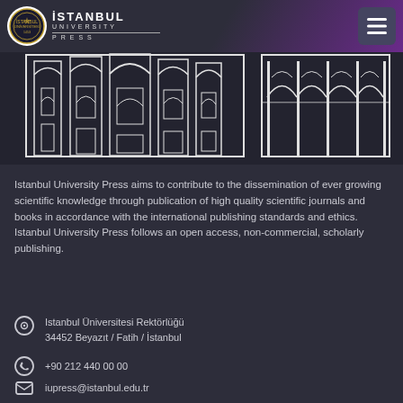İSTANBUL UNIVERSITY PRESS
[Figure (illustration): Architectural line drawing of historic Istanbul university building with arched windows and towers, white lines on dark background]
Istanbul University Press aims to contribute to the dissemination of ever growing scientific knowledge through publication of high quality scientific journals and books in accordance with the international publishing standards and ethics. Istanbul University Press follows an open access, non-commercial, scholarly publishing.
Istanbul Üniversitesi Rektörlüğü
34452 Beyazıt / Fatih / İstanbul
+90 212 440 00 00
iupress@istanbul.edu.tr